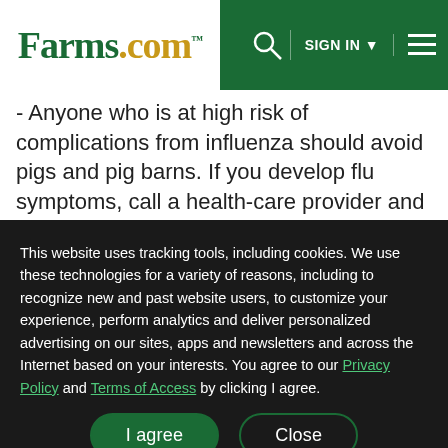Farms.com | SIGN IN | Menu
- Anyone who is at high risk of complications from influenza should avoid pigs and pig barns. If you develop flu symptoms, call a health-care provider and tell them about your exposure to pigs. The same influenza antiviral drugs used to treat seasonal flu can be used to treat
This website uses tracking tools, including cookies. We use these technologies for a variety of reasons, including to recognize new and past website users, to customize your experience, perform analytics and deliver personalized advertising on our sites, apps and newsletters and across the Internet based on your interests. You agree to our Privacy Policy and Terms of Access by clicking I agree.